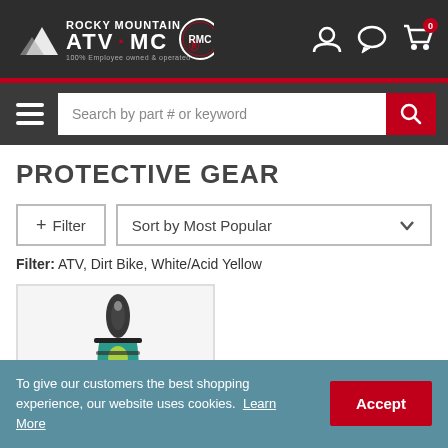Rocky Mountain ATV MC — 100% Employee owned & operated
Search by part # or keyword
PROTECTIVE GEAR
+ Filter   Sort by Most Popular
Filter: ATV, Dirt Bike, White/Acid Yellow
[Figure (photo): Product image showing protective gear (knee/leg guard) with black and teal/yellow coloring]
To give our customers the best shopping experience, our website uses cookies. Learn More   Accept